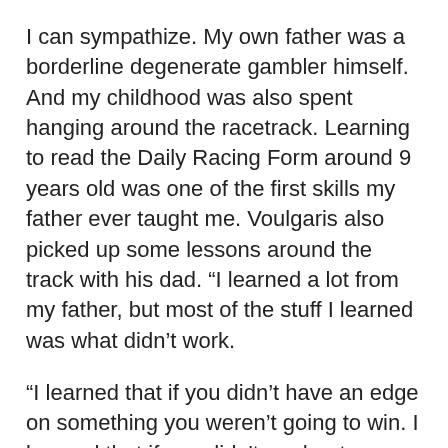I can sympathize. My own father was a borderline degenerate gambler himself. And my childhood was also spent hanging around the racetrack. Learning to read the Daily Racing Form around 9 years old was one of the first skills my father ever taught me. Voulgaris also picked up some lessons around the track with his dad. “I learned a lot from my father, but most of the stuff I learned was what didn’t work.
“I learned that if you didn’t have an edge on something you weren’t going to win. I learned that if you didn't moderate your temperament and think rationally, no matter how big your edge was you probably aren’t going to win long term.” Voulgaris paused, “And also I learned that in life you have to be willing to take risks because quite often the biggest gamble of all is just sitting around waiting for the perfect opportunity that may not ever come.”
This was a lesson Voulgaris clearly took to heart. After high school he went away to college to study philosophy at the University of Manitoba. While there he started up his own